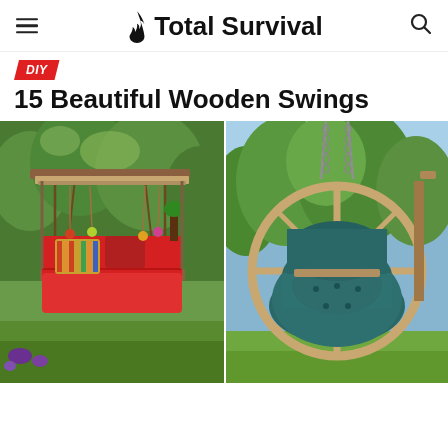Total Survival
DIY
15 Beautiful Wooden Swings
[Figure (photo): Two outdoor wooden swings side by side: left shows a red cushioned hanging daybed swing with colorful decorations and a canopy, in a garden setting; right shows a round circular wooden globe swing chair with teal/dark green cushioning, hanging from chains in a green garden.]